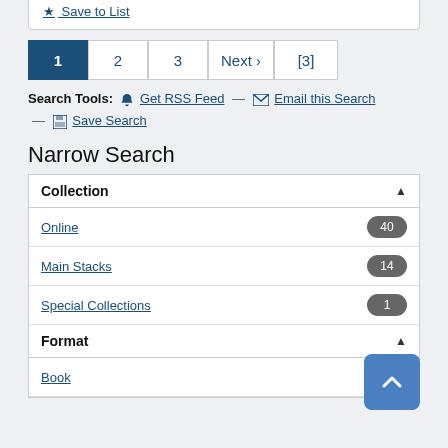★ Save to List
Pagination: 1 (active), 2, 3, Next ›, [3]
Search Tools: 🔔 Get RSS Feed — ✉ Email this Search — 💾 Save Search
Narrow Search
Collection ▲
Online 40
Main Stacks 14
Special Collections 1
Format ▲
Book 51